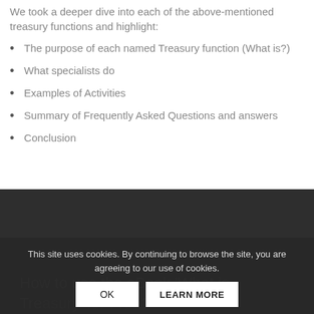We took a deeper dive into each of the above-mentioned treasury functions and highlight:
The purpose of each named Treasury function (What is?)
What specialists do
Examples of Activities
Summary of Frequently Asked Questions and answers
Conclusion
This site uses cookies. By continuing to browse the site, you are agreeing to our use of cookies.
How to use the eBook 'What is Treasury' for Free?